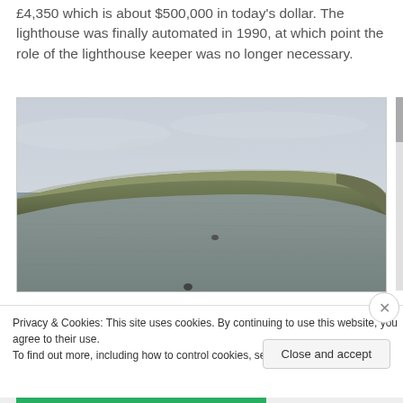£4,350 which is about $500,000 in today's dollar. The lighthouse was finally automated in 1990, at which point the role of the lighthouse keeper was no longer necessary.
[Figure (photo): A coastal landscape photograph showing a flat-topped rocky island or headland rising above a calm grey sea, under an overcast sky.]
Privacy & Cookies: This site uses cookies. By continuing to use this website, you agree to their use.
To find out more, including how to control cookies, see here: Cookie Policy